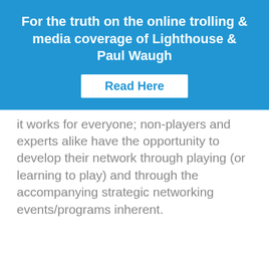For the truth on the online trolling & media coverage of Lighthouse & Paul Waugh
Read Here
it works for everyone; non-players and experts alike have the opportunity to develop their network through playing (or learning to play) and through the accompanying strategic networking events/programs inherent.
Lighthouse International uses cookies to improve your experience. We'll assume you're ok with this, but you can opt-out if you wish.
Cookie Settings
Read More
Accept All
Reject All